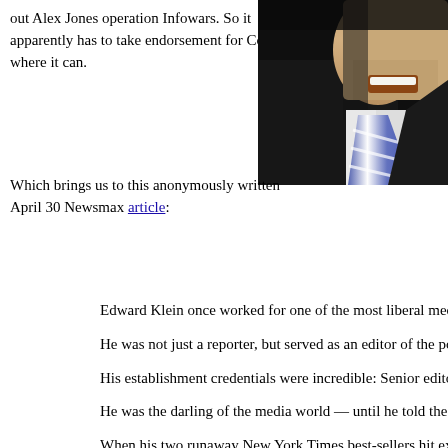out Alex Jones operation Infowars. So it apparently has to take endorsement for Corsi where it can.
[Figure (photo): Close-up photo of a man in a suit and blue striped tie, partially cropped, showing lower face and neck area against dark background.]
Which brings us to this anonymously written April 30 Newsmax article:
Edward Klein once worked for one of the most liberal media org... Times.
He was not just a reporter, but served as an editor of the powerfu...
His establishment credentials were incredible: Senior editor at N... Vanity Fair.
He was the darling of the media world — until he told the truth.
When his two runaway New York Times best-sellers hit exposing... shunned by the media establishment.
They turned on him because he wrote two books on Obama — "... considered among the biggest exposés of the Obama years.
Now Ed Klein is endorsing a new book about President Donald T... against him.